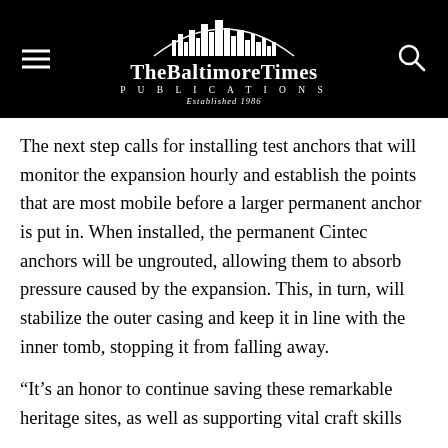[Figure (logo): The Baltimore Times Publications logo with skyline graphic and 'Established 1986' text on black background]
The next step calls for installing test anchors that will monitor the expansion hourly and establish the points that are most mobile before a larger permanent anchor is put in. When installed, the permanent Cintec anchors will be ungrouted, allowing them to absorb pressure caused by the expansion. This, in turn, will stabilize the outer casing and keep it in line with the inner tomb, stopping it from falling away.
“It’s an honor to continue saving these remarkable heritage sites, as well as supporting vital craft skills